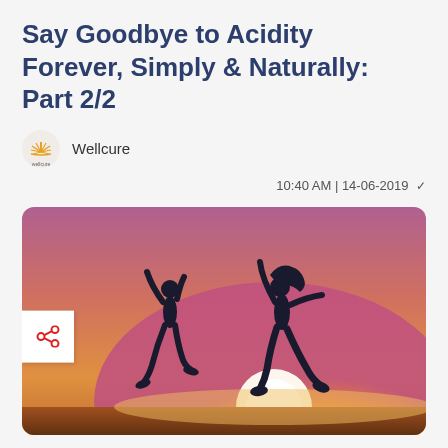Say Goodbye to Acidity Forever, Simply & Naturally: Part 2/2
Wellcure
10:40 AM | 14-06-2019
[Figure (photo): Two people jumping joyfully in silhouette against a sunset sky with bright sun on the horizon]